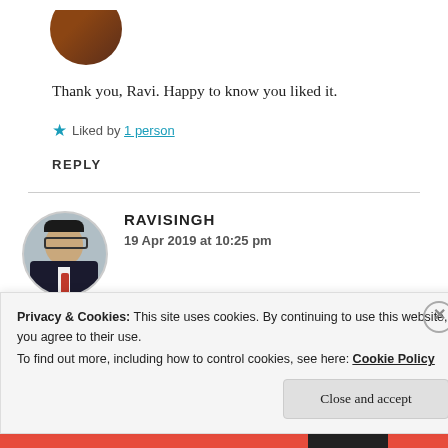[Figure (photo): Circular avatar photo of a person, partially visible at top]
Thank you, Ravi. Happy to know you liked it.
★ Liked by 1 person
REPLY
[Figure (photo): Circular avatar photo of RAVISINGH, a man in a dark suit with red tie]
RAVISINGH
19 Apr 2019 at 10:25 pm
Privacy & Cookies: This site uses cookies. By continuing to use this website, you agree to their use.
To find out more, including how to control cookies, see here: Cookie Policy
Close and accept